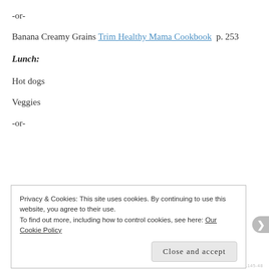-or-
Banana Creamy Grains Trim Healthy Mama Cookbook p. 253
Lunch:
Hot dogs
Veggies
-or-
Privacy & Cookies: This site uses cookies. By continuing to use this website, you agree to their use.
To find out more, including how to control cookies, see here: Our Cookie Policy
Close and accept